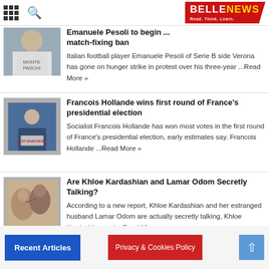BELLE NEWS - Read. Think. Learn.
[Figure (photo): Italian football player in white jersey with Monte Paschi text]
Emanuele Pesoli to begin ...
match-fixing ban
Italian football player Emanuele Pesoli of Serie B side Verona has gone on hunger strike in protest over his three-year ...Read More »
[Figure (photo): Francois Hollande speaking at a podium with C'EST MAINTENANT sign]
Francois Hollande wins first round of France's presidential election
Socialist Francois Hollande has won most votes in the first round of France's presidential election, early estimates say. Francois Hollande ...Read More »
[Figure (photo): Two people in sepia tone, one whispering to the other]
Are Khloe Kardashian and Lamar Odom Secretly Talking?
According to a new report, Khloe Kardashian and her estranged husband Lamar Odom are actually secretly talking, Khloe Kardashian and ...Read More »
Recent Articles | Privacy & Cookies Policy